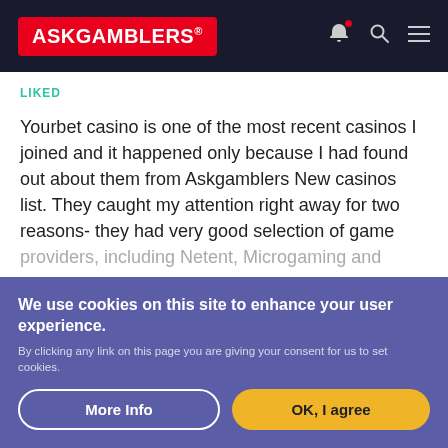ASKGAMBLERS®
LIKED
Yourbet casino is one of the most recent casinos I joined and it happened only because I had found out about them from Askgamblers New casinos list. They caught my attention right away for two reasons- they had very good selection of game providers, including Netent, Microgaming and several more, as
SHOW MORE
♥ LIKE
We use cookies on this site to enhance your user experience.
By clicking any link on this page you are giving your consent for us to set cookies.
More Info
OK, I agree